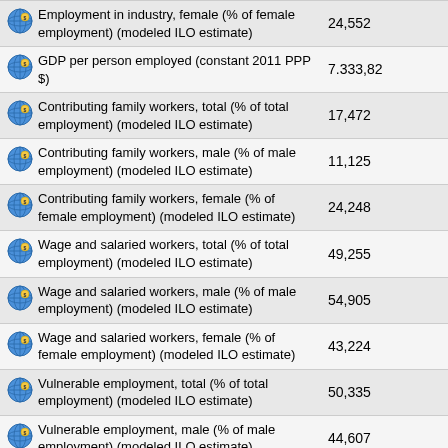| Indicator | Value |
| --- | --- |
| Employment in industry, female (% of female employment) (modeled ILO estimate) | 24,552 |
| GDP per person employed (constant 2011 PPP $) | 7.333,82 |
| Contributing family workers, total (% of total employment) (modeled ILO estimate) | 17,472 |
| Contributing family workers, male (% of male employment) (modeled ILO estimate) | 11,125 |
| Contributing family workers, female (% of female employment) (modeled ILO estimate) | 24,248 |
| Wage and salaried workers, total (% of total employment) (modeled ILO estimate) | 49,255 |
| Wage and salaried workers, male (% of male employment) (modeled ILO estimate) | 54,905 |
| Wage and salaried workers, female (% of female employment) (modeled ILO estimate) | 43,224 |
| Vulnerable employment, total (% of total employment) (modeled ILO estimate) | 50,335 |
| Vulnerable employment, male (% of male employment) (modeled ILO estimate) | 44,607 |